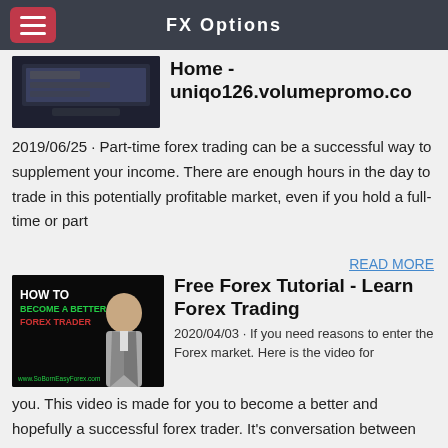FX Options
Home - uniqo126.volumepromo.co
2019/06/25 · Part-time forex trading can be a successful way to supplement your income. There are enough hours in the day to trade in this potentially profitable market, even if you hold a full-time or part
READ MORE
[Figure (screenshot): Thumbnail image with text HOW TO BECOME A BETTER FOREX TRADER with a man in a suit, website www.SoBornEasyForex.com]
Free Forex Tutorial - Learn Forex Trading
2020/04/03 · If you need reasons to enter the Forex market. Here is the video for you. This video is made for you to become a better and hopefully a successful forex trader. It's conversation between Me and